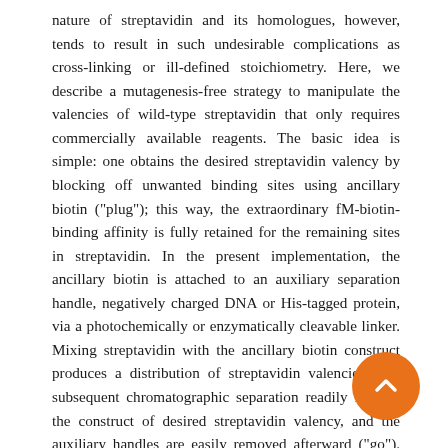nature of streptavidin and its homologues, however, tends to result in such undesirable complications as cross-linking or ill-defined stoichiometry. Here, we describe a mutagenesis-free strategy to manipulate the valencies of wild-type streptavidin that only requires commercially available reagents. The basic idea is simple: one obtains the desired streptavidin valency by blocking off unwanted binding sites using ancillary biotin ("plug"); this way, the extraordinary fM-biotin-binding affinity is fully retained for the remaining sites in streptavidin. In the present implementation, the ancillary biotin is attached to an auxiliary separation handle, negatively charged DNA or His-tagged protein, via a photochemically or enzymatically cleavable linker. Mixing streptavidin with the ancillary biotin construct produces a distribution of streptavidin valencies. The subsequent chromatographic separation readily isolates the construct of desired streptavidin valency, and the auxiliary handles are easily removed afterward ("go"). We demonstrate how this "plug-and-go" strategy allows a precise control for the compositions of streptavidin-biotin conjugates at the single-molecule level. This low-entry-barrier protocol could further expand the application scope of the streptavidin technology.
[Figure (other): Orange circular floating action button with a white upward-pointing chevron arrow icon]